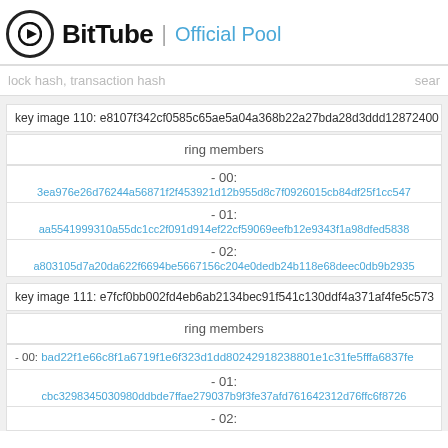BitTube | Official Pool
lock hash, transaction hash   sear
key image 110: e8107f342cf0585c65ae5a04a368b22a27bda28d3ddd12872400...
| ring members |
| --- |
| - 00: | 3ea976e26d76244a56871f2f453921d12b955d8c7f0926015cb84df25f1cc547... |
| - 01: | aa5541999310a55dc1cc2f091d914ef22cf59069eefb12e9343f1a98dfed5838... |
| - 02: | a803105d7a20da622f6694be5667156c204e0dedb24b118e68deec0db9b2935... |
key image 111: e7fcf0bb002fd4eb6ab2134bec91f541c130ddf4a371af4fe5c573...
| ring members |
| --- |
| - 00: | bad22f1e66c8f1a6719f1e6f323d1dd80242918238801e1c31fe5fffa6837fe... |
| - 01: | cbc3298345030980ddbde7ffae279037b9f3fe37afd761642312d76ffc6f8726... |
| - 02: |  |